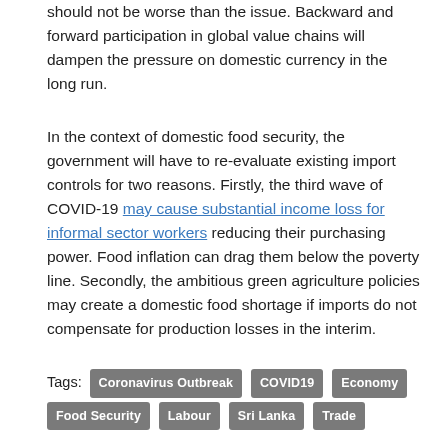should not be worse than the issue. Backward and forward participation in global value chains will dampen the pressure on domestic currency in the long run.
In the context of domestic food security, the government will have to re-evaluate existing import controls for two reasons. Firstly, the third wave of COVID-19 may cause substantial income loss for informal sector workers reducing their purchasing power. Food inflation can drag them below the poverty line. Secondly, the ambitious green agriculture policies may create a domestic food shortage if imports do not compensate for production losses in the interim.
Tags: Coronavirus Outbreak | COVID19 | Economy | Food Security | Labour | Sri Lanka | Trade